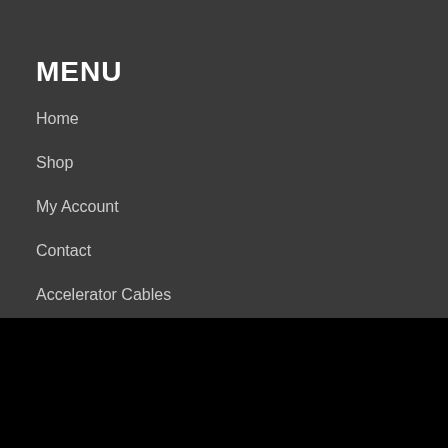MENU
Home
Shop
My Account
Contact
Accelerator Cables
AERIAL AND AERIAL ACCESSORIES
Auto Service parts
This site uses cookies. By continuing to browse the site, you are agreeing to our use of cookies.
Accept
How can we help you?